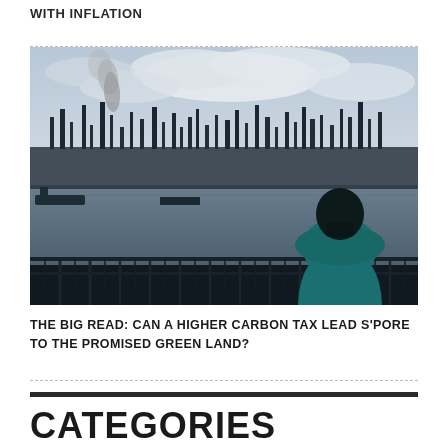WITH INFLATION
[Figure (photo): A silhouette of a person wearing a mask, viewed from behind, looking out at an industrial waterfront with smokestacks and a large refinery across the water under a cloudy sky.]
THE BIG READ: CAN A HIGHER CARBON TAX LEAD S'PORE TO THE PROMISED GREEN LAND?
CATEGORIES